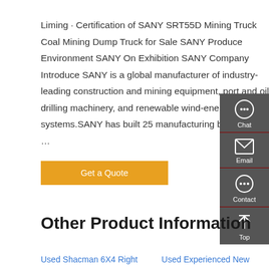Liming · Certification of SANY SRT55D Mining Truck Coal Mining Dump Truck for Sale SANY Produce Environment SANY On Exhibition SANY Company Introduce SANY is a global manufacturer of industry-leading construction and mining equipment, port and oil drilling machinery, and renewable wind-energy systems.SANY has built 25 manufacturing bases, and …
[Figure (other): Dark grey sidebar with icons and labels for Chat, Email, Contact, and Top navigation]
Get a Quote
Other Product Information
Used Shacman 6X4 Right   Used Experienced New